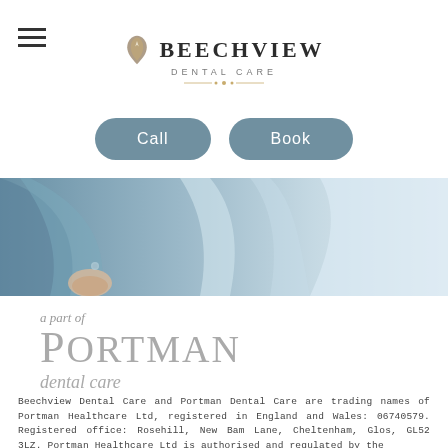[Figure (logo): Beechview Dental Care logo with tooth icon and text]
[Figure (infographic): Two rounded pill-shaped buttons: Call and Book]
[Figure (photo): Close-up photo of a dental professional in a light blue uniform]
a part of
Portman
dental care
Beechview Dental Care and Portman Dental Care are trading names of Portman Healthcare Ltd, registered in England and Wales: 06740579. Registered office: Rosehill, New Bam Lane, Cheltenham, Glos, GL52 3LZ. Portman Healthcare Ltd is authorised and regulated by the